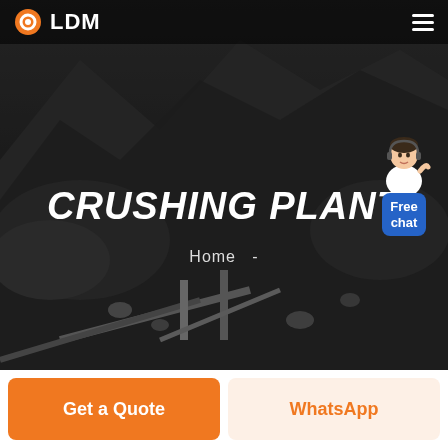[Figure (screenshot): Website screenshot of LDM Crushing Plant page. Dark hero image showing a quarry/mining site with rock piles and heavy machinery. Navigation bar at top with LDM logo and hamburger menu. Large bold white italic text 'CRUSHING PLANT' in center. Breadcrumb 'Home -' below title. Free chat widget with avatar on right side. Two CTA buttons at bottom: orange 'Get a Quote' and light 'WhatsApp'.]
LDM
CRUSHING PLANT
Home  -